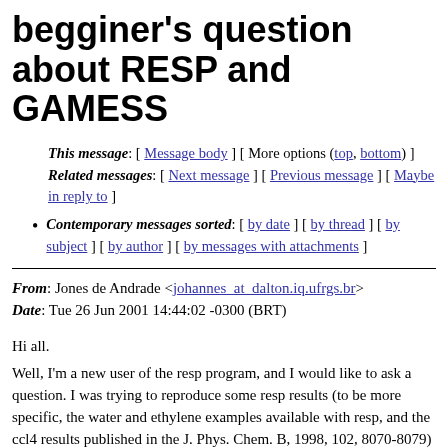begginer's question about RESP and GAMESS
This message: [ Message body ] [ More options (top, bottom) ]
Related messages: [ Next message ] [ Previous message ] [ Maybe in reply to ]
Contemporary messages sorted: [ by date ] [ by thread ] [ by subject ] [ by author ] [ by messages with attachments ]
From: Jones de Andrade <johannes_at_dalton.iq.ufrgs.br>
Date: Tue 26 Jun 2001 14:44:02 -0300 (BRT)
Hi all.
Well, I'm a new user of the resp program, and I would like to ask a question. I was trying to reproduce some resp results (to be more specific, the water and ethylene examples available with resp, and the
ccl4 results published in the J. Phys. Chem. B, 1998, 102, 8070-8079)